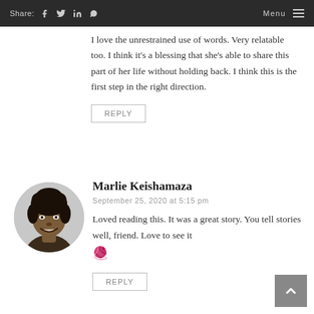Share: [facebook] [twitter] [linkedin] [whatsapp]    Menu
I love the unrestrained use of words. Very relatable too. I think it's a blessing that she's able to share this part of her life without holding back. I think this is the first step in the right direction.
Reply
Marlie Keishamaza
September 25, 2020 at 5:15 pm
Loved reading this. It was a great story. You tell stories well, friend. Love to see it 🧶
Reply